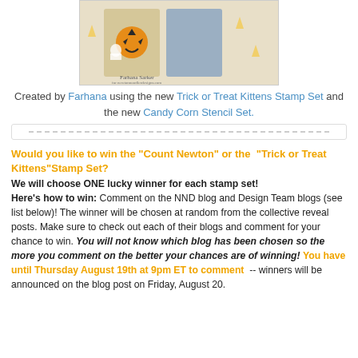[Figure (photo): A Halloween-themed craft card featuring a jack-o-lantern and kitten designs with candy corn background, signed 'Farhana Sarker for newtonsnoodlesdesigns.com']
Created by Farhana using the new Trick or Treat Kittens Stamp Set and the new Candy Corn Stencil Set.
Would you like to win the "Count Newton" or the "Trick or Treat Kittens"Stamp Set?
We will choose ONE lucky winner for each stamp set! Here's how to win: Comment on the NND blog and Design Team blogs (see list below)! The winner will be chosen at random from the collective reveal posts. Make sure to check out each of their blogs and comment for your chance to win. You will not know which blog has been chosen so the more you comment on the better your chances are of winning! You have until Thursday August 19th at 9pm ET to comment -- winners will be announced on the blog post on Friday, August 20.